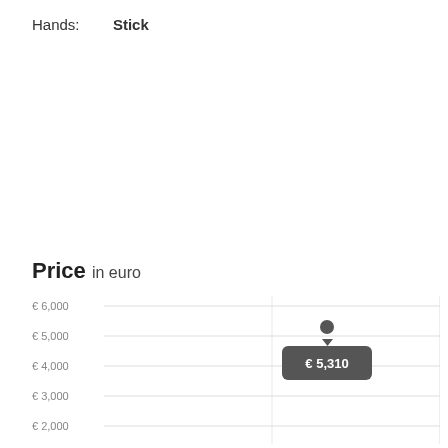Hands: Stick
Price in euro
[Figure (scatter-plot): Price in euro]